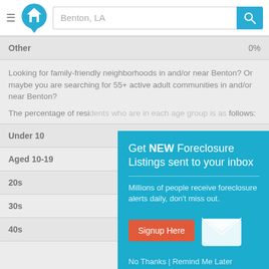Benton, LA
| Category | Value |
| --- | --- |
| Other | 0% |
Looking for family-friendly neighborhoods in and/or near Benton? Or maybe you are searching for 55+ active adult communities in and/or near Benton?
The percentage of residents who are in each age group is as follows:
| Age Group | Percentage |
| --- | --- |
| Under 10 |  |
| Aged 10-19 |  |
| 20s |  |
| 30s |  |
| 40s | 14.4% |
[Figure (screenshot): Modal popup: Get NEW Foreclosure Listings sent to your inbox. Millions of people receive foreclosure alerts daily, don't miss out. Signup Here button. No Thanks | Remind Me Later links. Envelope icon shown.]